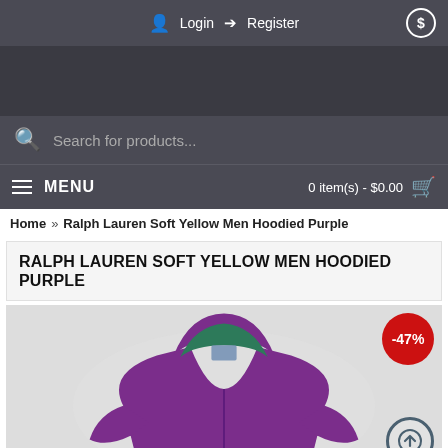Login  Register
[Figure (screenshot): E-commerce website navigation header with login, register, search bar, menu, and cart]
Home » Ralph Lauren Soft Yellow Men Hoodied Purple
RALPH LAUREN SOFT YELLOW MEN HOODIED PURPLE
[Figure (photo): Purple Ralph Lauren hoodie product photo with -47% discount badge]